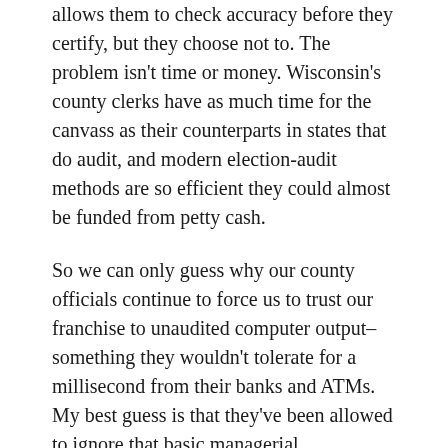allows them to check accuracy before they certify, but they choose not to. The problem isn't time or money. Wisconsin's county clerks have as much time for the canvass as their counterparts in states that do audit, and modern election-audit methods are so efficient they could almost be funded from petty cash.
So we can only guess why our county officials continue to force us to trust our franchise to unaudited computer output–something they wouldn't tolerate for a millisecond from their banks and ATMs. My best guess is that they've been allowed to ignore that basic managerial responsibility for so long that they fear they will find a host of problems when they start to look. Look at the panic this county official exhibited as she refused an observer's request for verification during the 2016 recount. That level of distress looks